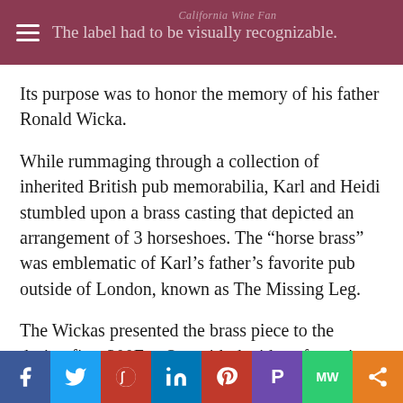The label had to be visually recognizable.
Its purpose was to honor the memory of his father Ronald Wicka.
While rummaging through a collection of inherited British pub memorabilia, Karl and Heidi stumbled upon a brass casting that depicted an arrangement of 3 horseshoes. The “horse brass” was emblematic of Karl’s father’s favorite pub outside of London, known as The Missing Leg.
The Wickas presented the brass piece to the design firm 300FeetOut with the idea of creating a wine label based on the…
f  Twitter  Reddit  in  Pinterest  Plurk  MW  Share